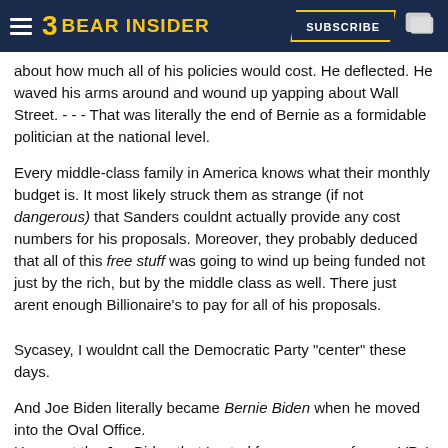Bear Insider — Subscribe
about how much all of his policies would cost. He deflected. He waved his arms around and wound up yapping about Wall Street. - - - That was literally the end of Bernie as a formidable politician at the national level.
Every middle-class family in America knows what their monthly budget is. It most likely struck them as strange (if not dangerous) that Sanders couldnt actually provide any cost numbers for his proposals. Moreover, they probably deduced that all of this free stuff was going to wind up being funded not just by the rich, but by the middle class as well. There just arent enough Billionaire's to pay for all of his proposals.
Sycasey, I wouldnt call the Democratic Party "center" these days.
And Joe Biden literally became Bernie Biden when he moved into the Oval Office.
He wasnt the Joe Biden that I voted for or was our former VP. I voted for a return to normalcy.
Not $6 Trillion in tax and spend.